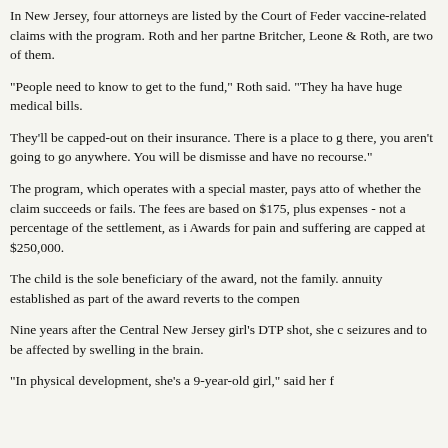In New Jersey, four attorneys are listed by the Court of Federal Claims to handle vaccine-related claims with the program. Roth and her partner at Britcher, Leone & Roth, are two of them.
"People need to know to get to the fund," Roth said. "They have huge medical bills.
They'll be capped-out on their insurance. There is a place to go there, you aren't going to go anywhere. You will be dismissed and have no recourse."
The program, which operates with a special master, pays attorneys of whether the claim succeeds or fails. The fees are based on $175, plus expenses - not a percentage of the settlement, as in Awards for pain and suffering are capped at $250,000.
The child is the sole beneficiary of the award, not the family. annuity established as part of the award reverts to the compensation
Nine years after the Central New Jersey girl's DTP shot, she continues to have seizures and to be affected by swelling in the brain.
"In physical development, she's a 9-year-old girl," said her f